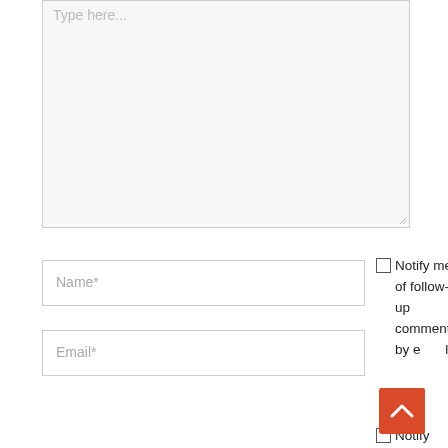[Figure (screenshot): A web comment form with a large textarea showing 'Type here...' placeholder, Name* and Email* input fields, a 'Notify me of follow-up comments by email.' checkbox, a red scroll-to-top button with an upward chevron, and a second Notify checkbox partially visible.]